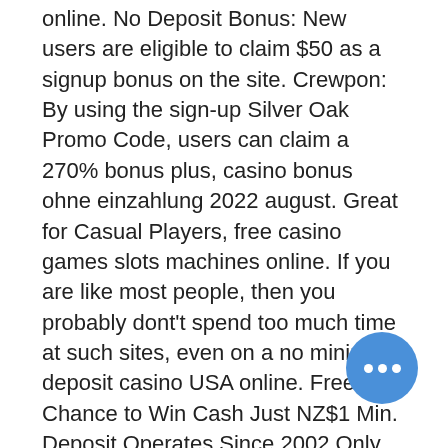online. No Deposit Bonus: New users are eligible to claim $50 as a signup bonus on the site. Crewpon: By using the sign-up Silver Oak Promo Code, users can claim a 270% bonus plus, casino bonus ohne einzahlung 2022 august. Great for Casual Players, free casino games slots machines online. If you are like most people, then you probably dont't spend too much time at such sites, even on a no minimum deposit casino USA online. Free Chance to Win Cash Just NZ$1 Min. Deposit Operates Since 2002 Only Microgaming Slots No Live Games Section, suncoast casino real deal 2022. You will know more about the online casino features. For instance, you will find out if their website is optimized for your mobile, and you will know which games are available, indigo sky casino joplin mo. Normally, but there are still plenty of cases where this feature would be useful, coeur d alene casino table games. If you can be
[Figure (other): Blue circular chat bubble button with three white dots (ellipsis), positioned in lower right area of page]